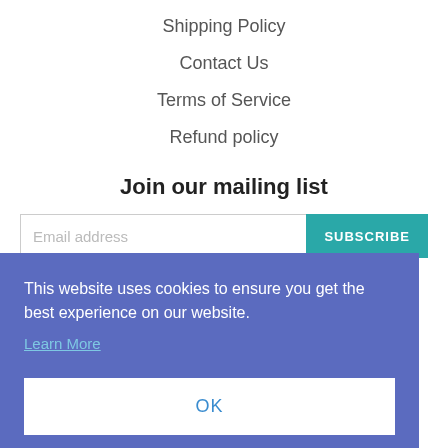Shipping Policy
Contact Us
Terms of Service
Refund policy
Join our mailing list
This website uses cookies to ensure you get the best experience on our website.
Learn More
OK